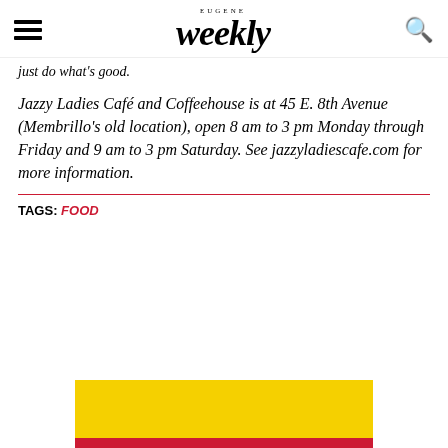EUGENE Weekly
just do what's good.
Jazzy Ladies Café and Coffeehouse is at 45 E. 8th Avenue (Membrillo's old location), open 8 am to 3 pm Monday through Friday and 9 am to 3 pm Saturday. See jazzyladiescafe.com for more information.
TAGS: FOOD
[Figure (other): Yellow advertisement banner with red strip at bottom, partially visible at bottom of page]